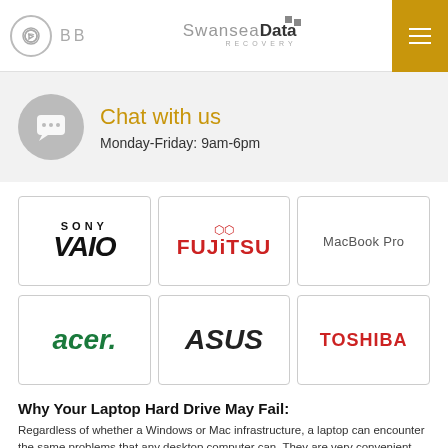Swansea Data Recovery
Chat with us
Monday-Friday: 9am-6pm
[Figure (logo): Sony VAIO logo]
[Figure (logo): Fujitsu logo]
[Figure (logo): MacBook Pro logo]
[Figure (logo): Acer logo]
[Figure (logo): ASUS logo]
[Figure (logo): Toshiba logo]
Why Your Laptop Hard Drive May Fail:
Regardless of whether a Windows or Mac infrastructure, a laptop can encounter the same problems that any desktop computer can. They are very convenient and their portability means that you can access your work on the go. There are